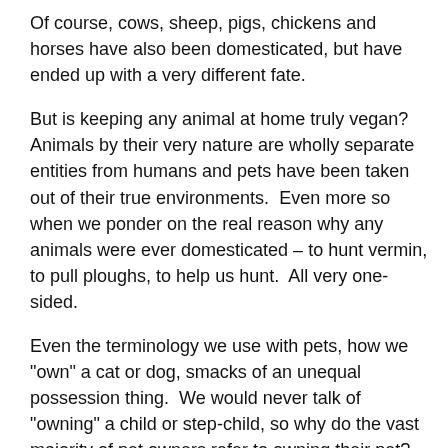Of course, cows, sheep, pigs, chickens and horses have also been domesticated, but have ended up with a very different fate.
But is keeping any animal at home truly vegan? Animals by their very nature are wholly separate entities from humans and pets have been taken out of their true environments.  Even more so when we ponder on the real reason why any animals were ever domesticated – to hunt vermin, to pull ploughs, to help us hunt.  All very one-sided.
Even the terminology we use with pets, how we "own" a cat or dog, smacks of an unequal possession thing.  We would never talk of "owning" a child or step-child, so why do the vast majority of pet owners refer to owning their pet?
So, does pet "ownership" do nothing more then reinforce humankind's perception of being lords